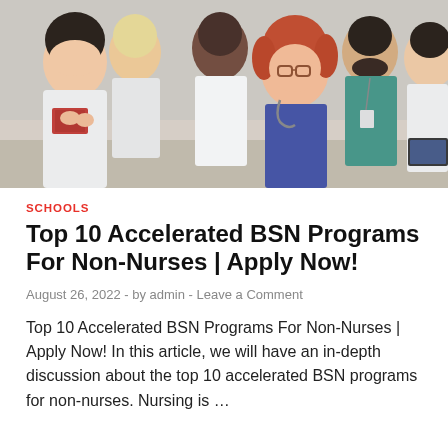[Figure (photo): Group of medical professionals and nursing students seated together, smiling, wearing white coats and scrubs, in a seminar or conference setting]
SCHOOLS
Top 10 Accelerated BSN Programs For Non-Nurses | Apply Now!
August 26, 2022  -  by admin  -  Leave a Comment
Top 10 Accelerated BSN Programs For Non-Nurses | Apply Now! In this article, we will have an in-depth discussion about the top 10 accelerated BSN programs for non-nurses. Nursing is …